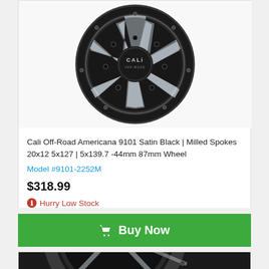[Figure (photo): Cali Off-Road Americana 9101 Satin Black Milled Spokes wheel product photo, top view of black alloy wheel with silver milled spoke accents and CALI logo on center cap]
Cali Off-Road Americana 9101 Satin Black | Milled Spokes 20x12 5x127 | 5x139.7 -44mm 87mm Wheel
Model #9101-2252M
$318.99
Hurry Low Stock
Buy Now
[Figure (photo): Second Cali Off-Road wheel product photo partially visible at bottom, with a Live Chat Online Now customer support banner overlay]